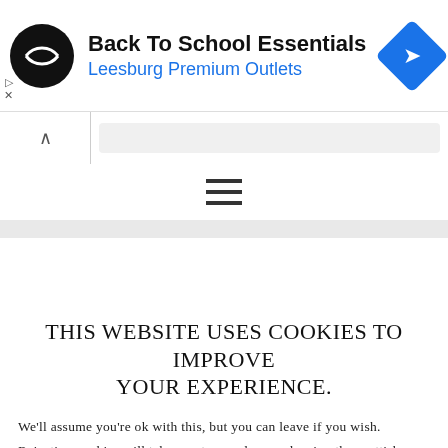[Figure (screenshot): Advertisement banner for Back To School Essentials at Leesburg Premium Outlets, with circular logo on left, text in center, and blue diamond navigation icon on right. Small play and close controls at far left.]
Navigation toolbar with collapse arrow tab and URL bar
[Figure (screenshot): Hamburger menu icon (three horizontal lines) centered in a white bar]
THIS WEBSITE USES COOKIES TO IMPROVE YOUR EXPERIENCE.
We'll assume you're ok with this, but you can leave if you wish. Rejecting cookies will take you to google.com, leaving the scottish mum blog website.
Accept  Reject  Read More